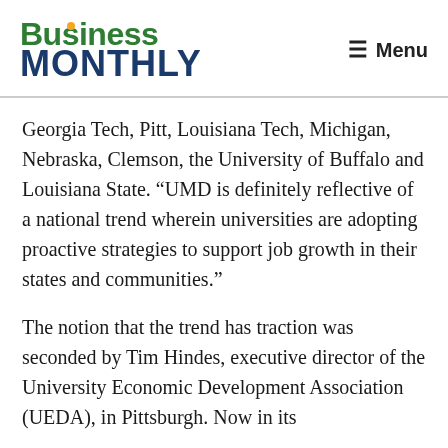Business Monthly — Menu
Georgia Tech, Pitt, Louisiana Tech, Michigan, Nebraska, Clemson, the University of Buffalo and Louisiana State. “UMD is definitely reflective of a national trend wherein universities are adopting proactive strategies to support job growth in their states and communities.”
The notion that the trend has traction was seconded by Tim Hindes, executive director of the University Economic Development Association (UEDA), in Pittsburgh. Now in its 46-year, the idea was a $40 per hour...